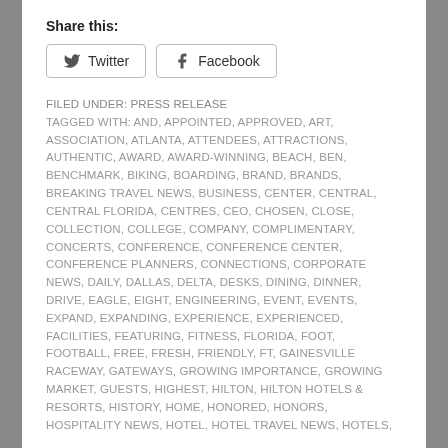Share this:
Twitter  Facebook
FILED UNDER: PRESS RELEASE
TAGGED WITH: AND, APPOINTED, APPROVED, ART, ASSOCIATION, ATLANTA, ATTENDEES, ATTRACTIONS, AUTHENTIC, AWARD, AWARD-WINNING, BEACH, BEN, BENCHMARK, BIKING, BOARDING, BRAND, BRANDS, BREAKING TRAVEL NEWS, BUSINESS, CENTER, CENTRAL, CENTRAL FLORIDA, CENTRES, CEO, CHOSEN, CLOSE, COLLECTION, COLLEGE, COMPANY, COMPLIMENTARY, CONCERTS, CONFERENCE, CONFERENCE CENTER, CONFERENCE PLANNERS, CONNECTIONS, CORPORATE NEWS, DAILY, DALLAS, DELTA, DESKS, DINING, DINNER, DRIVE, EAGLE, EIGHT, ENGINEERING, EVENT, EVENTS, EXPAND, EXPANDING, EXPERIENCE, EXPERIENCED, FACILITIES, FEATURING, FITNESS, FLORIDA, FOOT, FOOTBALL, FREE, FRESH, FRIENDLY, FT, GAINESVILLE RACEWAY, GATEWAYS, GROWING IMPORTANCE, GROWING MARKET, GUESTS, HIGHEST, HILTON, HILTON HOTELS & RESORTS, HISTORY, HOME, HONORED, HONORS, HOSPITALITY NEWS, HOTEL, HOTEL TRAVEL NEWS, HOTELS,